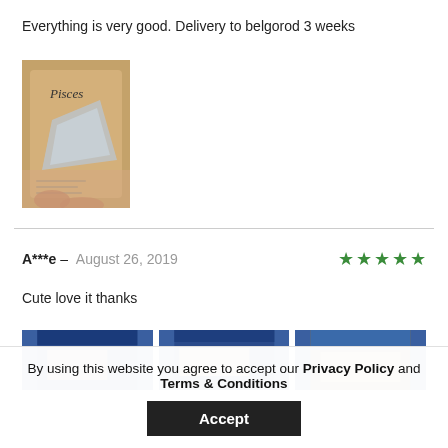Everything is very good. Delivery to belgorod 3 weeks
[Figure (photo): Photo of a hand holding a Pisces zodiac product package with gold/tan packaging and foil detail]
A***e – August 26, 2019  ★★★★★
Cute love it thanks
[Figure (photo): Row of three partially visible product photos with blue and brown packaging]
By using this website you agree to accept our Privacy Policy and Terms & Conditions
Accept